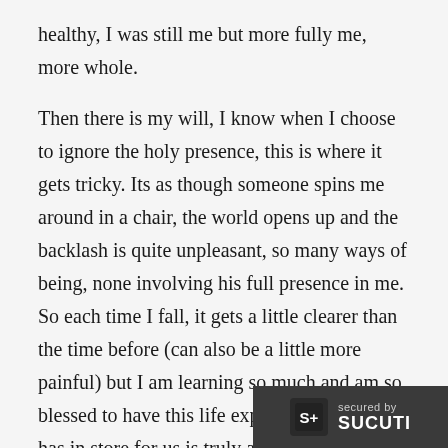healthy, I was still me but more fully me, more whole.

Then there is my will, I know when I choose to ignore the holy presence, this is where it gets tricky. Its as though someone spins me around in a chair, the world opens up and the backlash is quite unpleasant, so many ways of being, none involving his full presence in me. So each time I fall, it gets a little clearer than the time before (can also be a little more painful) but I am learning so much and am so blessed to have this life experience. What God has in store for us is truly amazing.Thank you for listening
[Figure (logo): Sucuri security badge — dark grey background with S+ icon and 'secured by SUCURI' text]